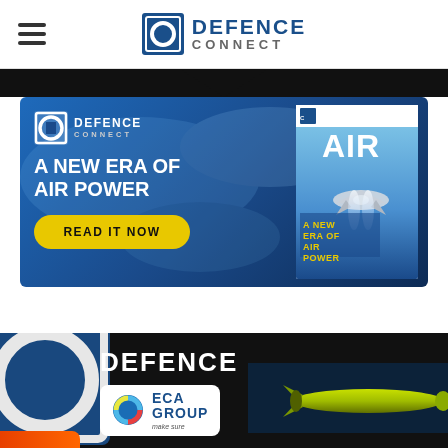DEFENCE CONNECT
[Figure (screenshot): Defence Connect advertisement banner for 'A New Era of Air Power' magazine issue with READ IT NOW button and magazine cover showing a fighter jet]
[Figure (screenshot): Defence Connect and ECA Group logos on black background with a yellow underwater drone/torpedo visible on the right side]